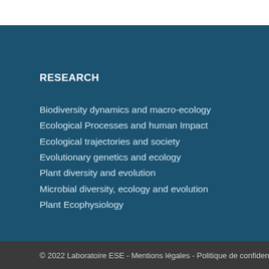RESEARCH
Biodiversity dynamics and macro-ecology
Ecological Processes and human Impact
Ecological trajectories and society
Evolutionary genetics and ecology
Plant diversity and evolution
Microbial diversity, ecology and evolution
Plant Ecophysiology
© 2022 Laboratoire ESE - Mentions légales - Politique de confidentia…